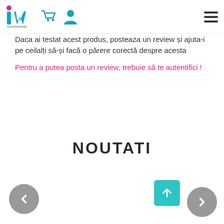iW logo, cart icon, user icon, hamburger menu
Daca ai testat acest produs, posteaza un review și ajuta-i pe ceilalți să-și facă o părere corectă despre acesta
Pentru a putea posta un review, trebuie să te autentifici !
NOUTATI
[Figure (other): Navigation arrows: left circle arrow (grey), right circle arrow (grey), teal scroll-to-top button]